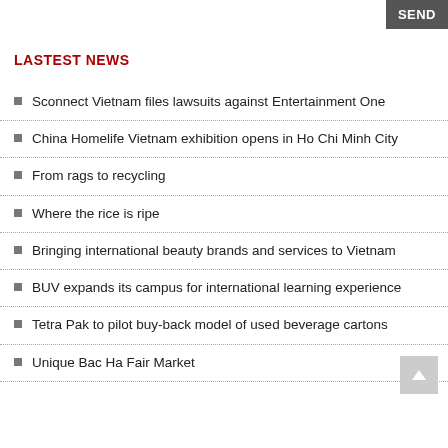SEND
LASTEST NEWS
Sconnect Vietnam files lawsuits against Entertainment One
China Homelife Vietnam exhibition opens in Ho Chi Minh City
From rags to recycling
Where the rice is ripe
Bringing international beauty brands and services to Vietnam
BUV expands its campus for international learning experience
Tetra Pak to pilot buy-back model of used beverage cartons
Unique Bac Ha Fair Market